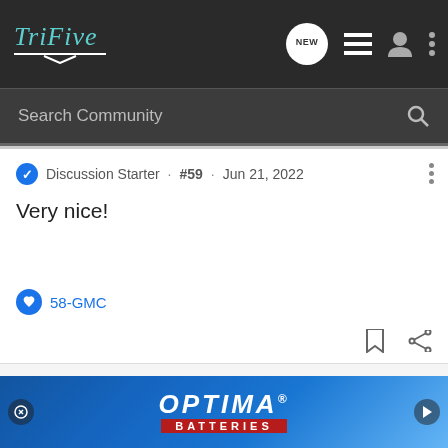TriFive — NEW (notification) — list icon — user icon — menu dots
Search Community
Discussion Starter · #59 · Jun 21, 2022
Very nice!
58-GMC
panelman · Registered 🇺🇸
Joined Jan 28, 2017 · 3,030 Posts
Discu…
[Figure (screenshot): Optima Batteries advertisement banner with blue gradient background showing OPTIMA logo in white italic bold text and BATTERIES in red banner below]